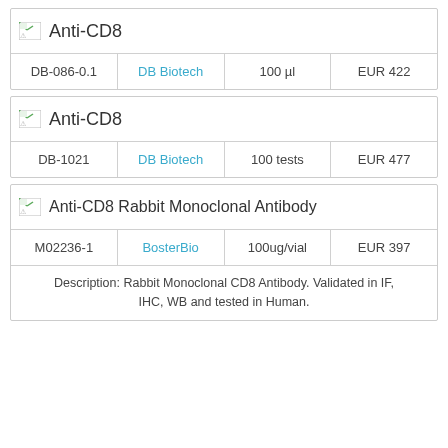|  | Anti-CD8 |
| --- | --- |
| DB-086-0.1 | DB Biotech | 100 µl | EUR 422 |
|  | Anti-CD8 |
| --- | --- |
| DB-1021 | DB Biotech | 100 tests | EUR 477 |
|  | Anti-CD8 Rabbit Monoclonal Antibody |
| --- | --- |
| M02236-1 | BosterBio | 100ug/vial | EUR 397 |
Description: Rabbit Monoclonal CD8 Antibody. Validated in IF, IHC, WB and tested in Human.